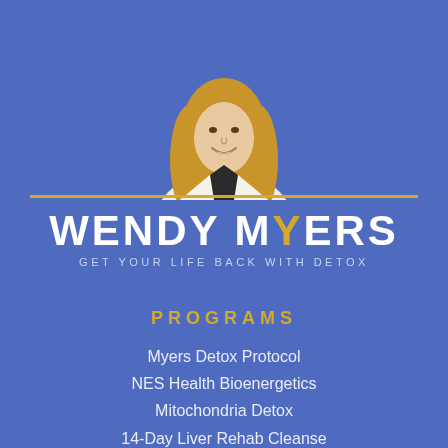[Figure (photo): Woman with long blonde hair wearing a white blazer and black top, smiling, upper body visible, photographed against a blue background]
WENDY MYERS
GET YOUR LIFE BACK WITH DETOX
PROGRAMS
Myers Detox Protocol
NES Health Bioenergetics
Mitochondria Detox
14-Day Liver Rehab Cleanse
Meet Our Health Coaches